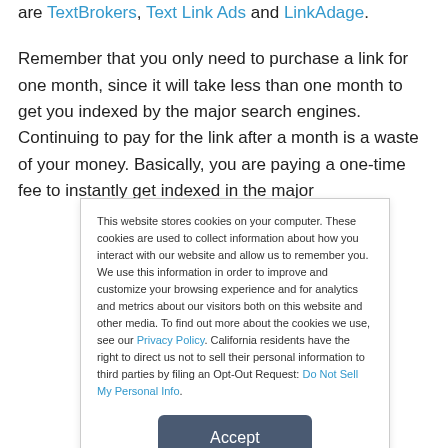are TextBrokers, Text Link Ads and LinkAdage.
Remember that you only need to purchase a link for one month, since it will take less than one month to get you indexed by the major search engines. Continuing to pay for the link after a month is a waste of your money. Basically, you are paying a one-time fee to instantly get indexed in the major
This website stores cookies on your computer. These cookies are used to collect information about how you interact with our website and allow us to remember you. We use this information in order to improve and customize your browsing experience and for analytics and metrics about our visitors both on this website and other media. To find out more about the cookies we use, see our Privacy Policy. California residents have the right to direct us not to sell their personal information to third parties by filing an Opt-Out Request: Do Not Sell My Personal Info.
Accept